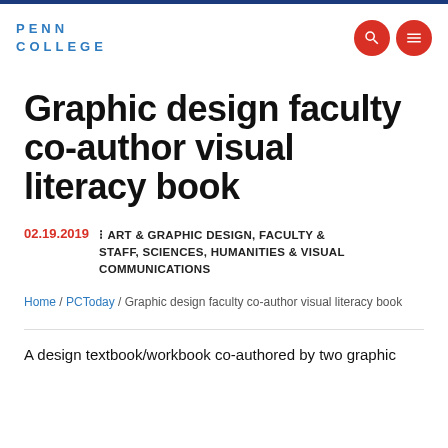PENN COLLEGE
Graphic design faculty co-author visual literacy book
02.19.2019  ART & GRAPHIC DESIGN, FACULTY & STAFF, SCIENCES, HUMANITIES & VISUAL COMMUNICATIONS
Home / PCToday / Graphic design faculty co-author visual literacy book
A design textbook/workbook co-authored by two graphic